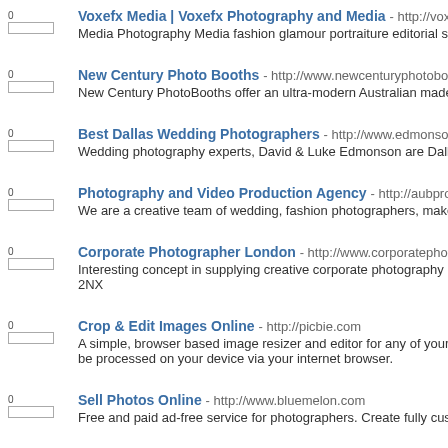Voxefx Media | Voxefx Photography and Media - http://voxefxphotogr... Media Photography Media fashion glamour portraiture editorial studio
New Century Photo Booths - http://www.newcenturyphotobooths.com.au/ New Century PhotoBooths offer an ultra-modern Australian made free standing re
Best Dallas Wedding Photographers - http://www.edmonsonweddings.co Wedding photography experts, David & Luke Edmonson are Dallas photographer
Photography and Video Production Agency - http://aubproduction.com We are a creative team of wedding, fashion photographers, makeup artists and s
Corporate Photographer London - http://www.corporatephotographylondo Interesting concept in supplying creative corporate photography in London. Corpo... 2NX
Crop & Edit Images Online - http://picbie.com A simple, browser based image resizer and editor for any of your devices like lap... be processed on your device via your internet browser.
Sell Photos Online - http://www.bluemelon.com Free and paid ad-free service for photographers. Create fully customizable photo
Nick Fox Travel Photography - http://www.nicksimages.com Offers photographs of wildlife and travel.